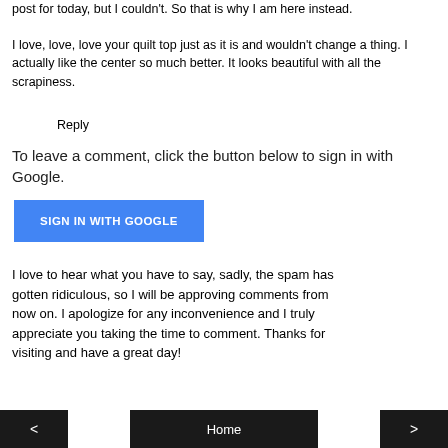post for today, but I couldn't. So that is why I am here instead.
I love, love, love your quilt top just as it is and wouldn't change a thing. I actually like the center so much better. It looks beautiful with all the scrapiness.
Reply
To leave a comment, click the button below to sign in with Google.
[Figure (other): Blue 'SIGN IN WITH GOOGLE' button]
I love to hear what you have to say, sadly, the spam has gotten ridiculous, so I will be approving comments from now on. I apologize for any inconvenience and I truly appreciate you taking the time to comment. Thanks for visiting and have a great day!
< | Home | >